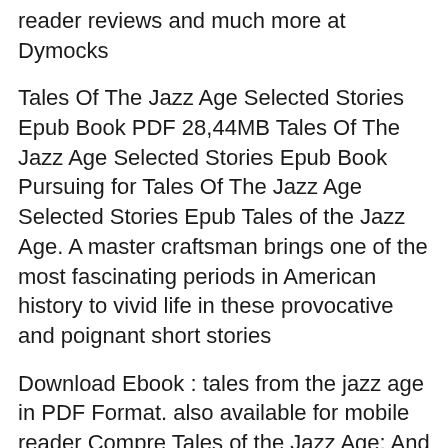reader reviews and much more at Dymocks
Tales Of The Jazz Age Selected Stories Epub Book PDF 28,44MB Tales Of The Jazz Age Selected Stories Epub Book Pursuing for Tales Of The Jazz Age Selected Stories Epub Tales of the Jazz Age. A master craftsman brings one of the most fascinating periods in American history to vivid life in these provocative and poignant short stories
Download Ebook : tales from the jazz age in PDF Format. also available for mobile reader Compre Tales of the Jazz Age: And Flappers and Philosophers (English Edition) de F. Scott Fitzgerald